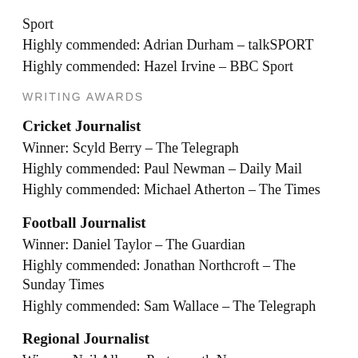Sport
Highly commended: Adrian Durham – talkSPORT
Highly commended: Hazel Irvine – BBC Sport
WRITING AWARDS
Cricket Journalist
Winner: Scyld Berry – The Telegraph
Highly commended: Paul Newman – Daily Mail
Highly commended: Michael Atherton – The Times
Football Journalist
Winner: Daniel Taylor – The Guardian
Highly commended: Jonathan Northcroft – The Sunday Times
Highly commended: Sam Wallace – The Telegraph
Regional Journalist
Winner: Neil Allen – Portsmouth News